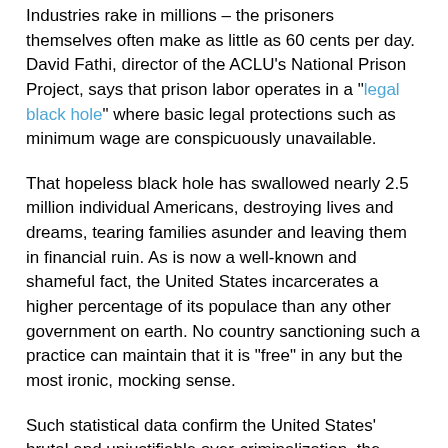Industries rake in millions – the prisoners themselves often make as little as 60 cents per day. David Fathi, director of the ACLU's National Prison Project, says that prison labor operates in a "legal black hole" where basic legal protections such as minimum wage are conspicuously unavailable.
That hopeless black hole has swallowed nearly 2.5 million individual Americans, destroying lives and dreams, tearing families asunder and leaving them in financial ruin. As is now a well-known and shameful fact, the United States incarcerates a higher percentage of its populace than any other government on earth. No country sanctioning such a practice can maintain that it is "free" in any but the most ironic, mocking sense.
Such statistical data confirm the United States' brutal and unjustifiable over-criminalization, the tendency toward outlawing acts that a free society would treat as permissible. Today, a huge percentage of American prisoners at both the state and federal levels are nonviolent offenders, their crimes usually involving the possession of illegal drugs. Most